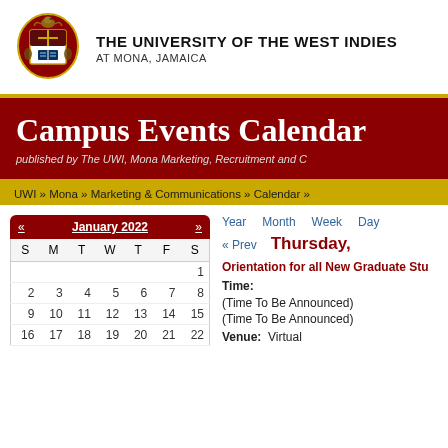[Figure (logo): University of the West Indies Mona crest/coat of arms with pelican]
THE UNIVERSITY OF THE WEST INDIES AT MONA, JAMAICA
Campus Events Calendar
published by The UWI, Mona Marketing, Recruitment and C
UWI » Mona » Marketing & Communications » Calendar »
[Figure (other): January 2022 mini calendar widget with navigation arrows and day grid]
Year  Month  Week  Day
« Prev   Thursday,
Orientation for all New Graduate Stu
Time:
(Time To Be Announced)
(Time To Be Announced)
Venue:  Virtual